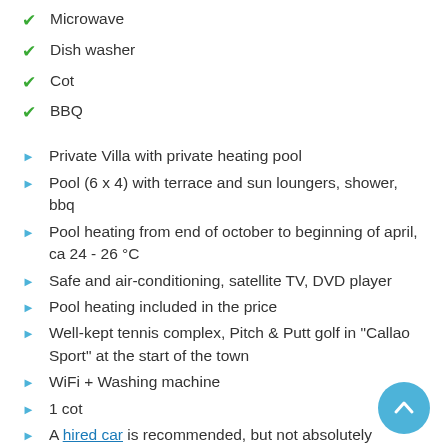Microwave
Dish washer
Cot
BBQ
Private Villa with private heating pool
Pool (6 x 4) with terrace and sun loungers, shower, bbq
Pool heating from end of october to beginning of april, ca 24 - 26 °C
Safe and air-conditioning, satellite TV, DVD player
Pool heating included in the price
Well-kept tennis complex, Pitch & Putt golf in "Callao Sport" at the start of the town
WiFi + Washing machine
1 cot
A hired car is recommended, but not absolutely necessary.
Property description
The elegant villa with private heating pool lies on the sunny south-west coast of Tenerife in Callao Salvaje...